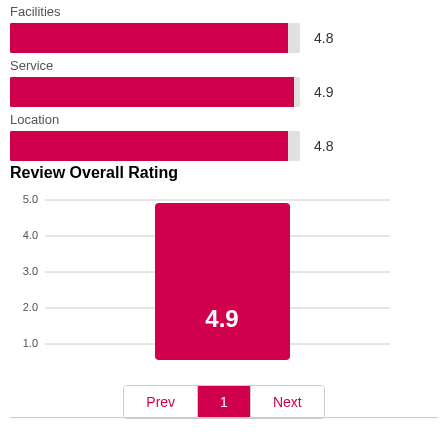Facilities
[Figure (bar-chart): ]
Review Overall Rating
[Figure (bar-chart): Review Overall Rating]
Prev 1 Next